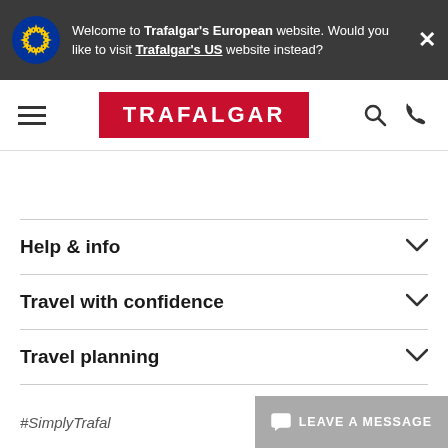Welcome to Trafalgar's European website. Would you like to visit Trafalgar's US website instead?
[Figure (logo): Trafalgar logo in red rectangle with white text]
Help & info
Travel with confidence
Travel planning
#SimplyTrafal...
LEAVE A MESSAGE